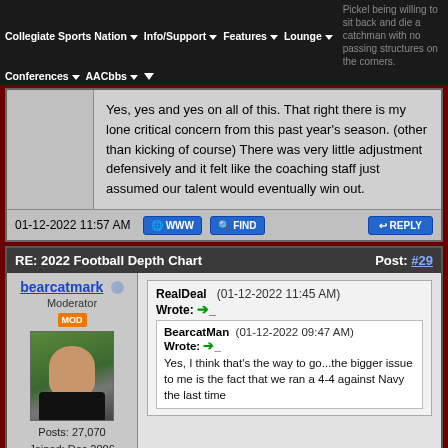Collegiate Sports Nation | Info/Support | Features | Lounge | Conferences | AACbbs | Pickel being willing to sit back and die a catchman with no passing structures on the corners.
Yes, yes and yes on all of this. That right there is my lone critical concern from this past year’s season. (other than kicking of course) There was very little adjustment defensively and it felt like the coaching staff just assumed our talent would eventually win out.
01-12-2022 11:57 AM
RE: 2022 Football Depth Chart  Post: #29
bearcatmark  Moderator
Posts: 27,070
Joined: Dec 2006
Reputation: 617
RealDeal (01-12-2022 11:45 AM) Wrote: ➞
BearcatMan (01-12-2022 09:47 AM) Wrote: ➞
Yes, I think that’s the way to go...the bigger issue to me is the fact that we ran a 4-4 against Navy the last time